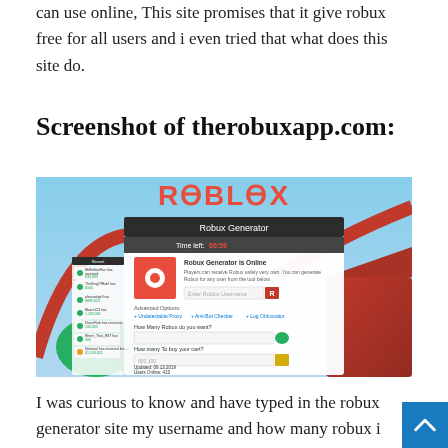can use online, This site promises that it give robux free for all users and i even tried that what does this site do.
Screenshot of therobuxapp.com:
[Figure (screenshot): Screenshot of therobuxapp.com showing a Roblox Robux Generator page with a countdown timer, username field, robux amount field, and advanced options. The background shows a Roblox roller coaster scene.]
I was curious to know and have typed in the robux generator site my username and how many robux i want and the site was executed some commands like accessing roblox database and generating free roblox and finally showed me this note! The